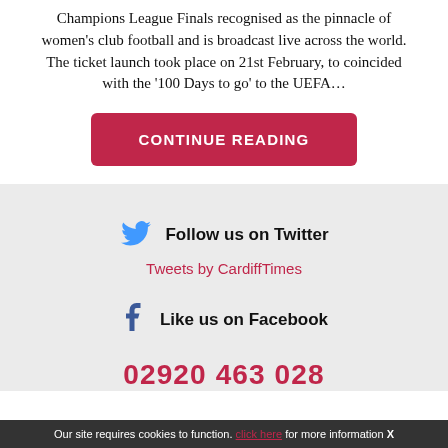Champions League Finals recognised as the pinnacle of women's club football and is broadcast live across the world. The ticket launch took place on 21st February, to coincided with the '100 Days to go' to the UEFA…
CONTINUE READING
Follow us on Twitter
Tweets by CardiffTimes
Like us on Facebook
02920 463 028
Our site requires cookies to function. click here for more information X